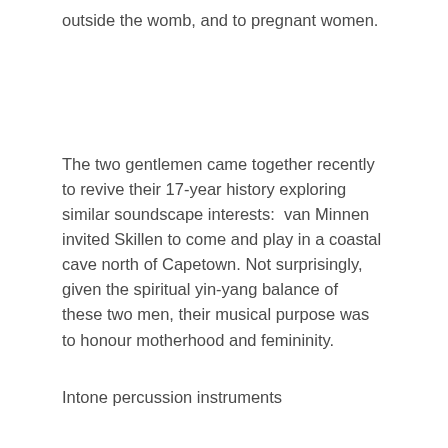outside the womb, and to pregnant women.
The two gentlemen came together recently to revive their 17-year history exploring similar soundscape interests:  van Minnen invited Skillen to come and play in a coastal cave north of Capetown. Not surprisingly, given the spiritual yin-yang balance of these two men, their musical purpose was to honour motherhood and femininity.
Intone percussion instruments